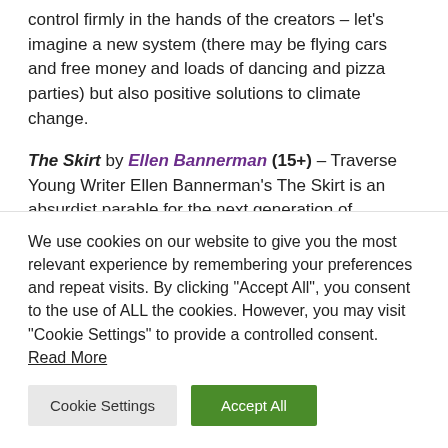control firmly in the hands of the creators – let's imagine a new system (there may be flying cars and free money and loads of dancing and pizza parties) but also positive solutions to climate change.
The Skirt by Ellen Bannerman (15+) – Traverse Young Writer Ellen Bannerman's The Skirt is an absurdist parable for the next generation of feminists, based on Gogol's short story: 'The Nose'. Wearing a short skirt to school on the day of the Head Girl election should be an
We use cookies on our website to give you the most relevant experience by remembering your preferences and repeat visits. By clicking "Accept All", you consent to the use of ALL the cookies. However, you may visit "Cookie Settings" to provide a controlled consent. Read More